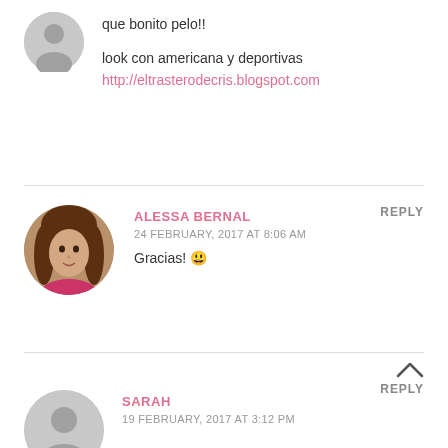que bonito pelo!!
look con americana y deportivas
http://eltrasterodecris.blogspot.com
ALESSA BERNAL
24 FEBRUARY, 2017 AT 8:06 AM
Gracias! 😊
REPLY
SARAH
19 FEBRUARY, 2017 AT 3:12 PM
REPLY